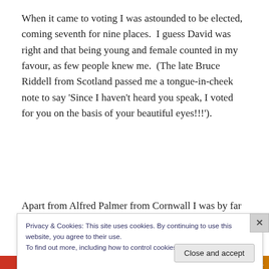When it came to voting I was astounded to be elected, coming seventh for nine places.  I guess David was right and that being young and female counted in my favour, as few people knew me.  (The late Bruce Riddell from Scotland passed me a tongue-in-cheek note to say 'Since I haven't heard you speak, I voted for you on the basis of your beautiful eyes!!!').
Apart from Alfred Palmer from Cornwall I was by far the
Privacy & Cookies: This site uses cookies. By continuing to use this website, you agree to their use.
To find out more, including how to control cookies, see here: Cookie Policy
Close and accept